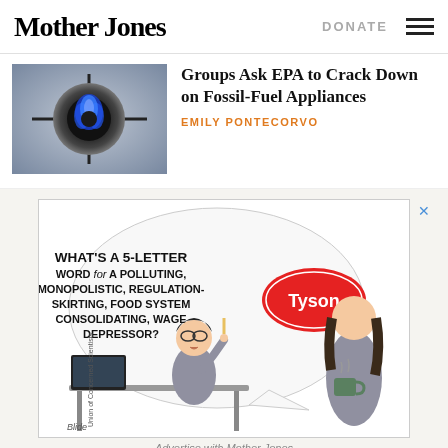Mother Jones
Groups Ask EPA to Crack Down on Fossil-Fuel Appliances
EMILY PONTECORVO
[Figure (illustration): Cartoon advertisement by Union of Concerned Scientists. A man at a desk does a crossword puzzle and asks 'What's a 5-letter word for a polluting, monopolistic, regulation-skirting, food system consolidating, wage depressor?' with a Tyson speech bubble logo answering. A woman stands nearby holding a hot drink.]
Advertise with Mother Jones